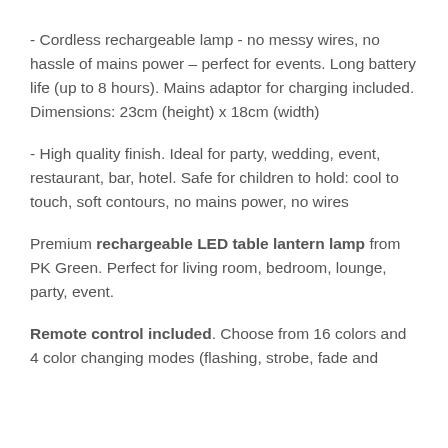- Cordless rechargeable lamp - no messy wires, no hassle of mains power – perfect for events. Long battery life (up to 8 hours). Mains adaptor for charging included. Dimensions: 23cm (height) x 18cm (width)
- High quality finish. Ideal for party, wedding, event, restaurant, bar, hotel. Safe for children to hold: cool to touch, soft contours, no mains power, no wires
Premium rechargeable LED table lantern lamp from PK Green. Perfect for living room, bedroom, lounge, party, event.
Remote control included. Choose from 16 colors and 4 color changing modes (flashing, strobe, fade and